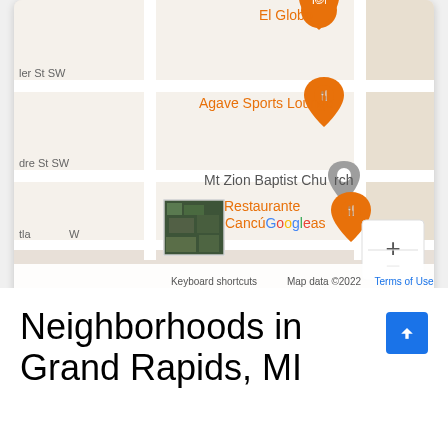[Figure (map): Google Maps screenshot showing streets in Grand Rapids, MI with restaurant pins: El Globo, Agave Sports Lounge, Mt Zion Baptist Church marker, Restaurante CancúGoogles. Map controls show + and - zoom buttons. Bottom bar shows Keyboard shortcuts, Map data ©2022, Terms of Use. A satellite thumbnail is visible in lower left.]
Neighborhoods in Grand Rapids, MI